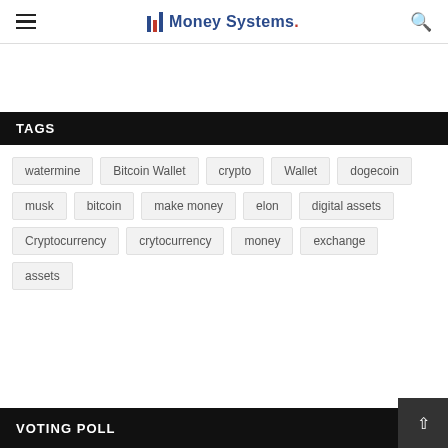Money Systems.
TAGS
watermine
Bitcoin Wallet
crypto
Wallet
dogecoin
musk
bitcoin
make money
elon
digital assets
Cryptocurrency
crytocurrency
money
exchange
assets
VOTING POLL